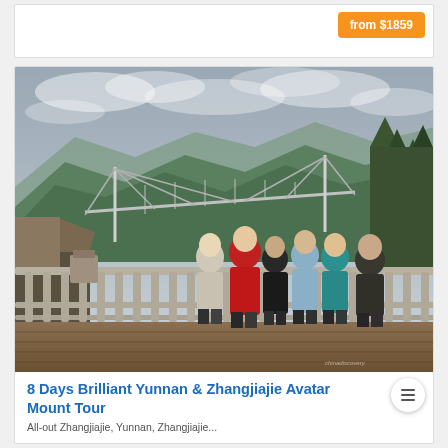from $1859
[Figure (photo): Group of tourists posing on a wooden viewing deck with railing, with a suspension bridge and green mountain scenery in the background under a cloudy sky.]
8 Days Brilliant Yunnan & Zhangjiajie Avatar Mount Tour
All-out Zhangjiajie, Yunnan, Zhangjiajie...